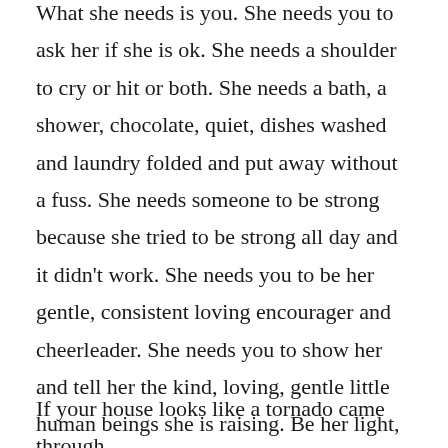What she needs is you. She needs you to ask her if she is ok. She needs a shoulder to cry or hit or both. She needs a bath, a shower, chocolate, quiet, dishes washed and laundry folded and put away without a fuss. She needs someone to be strong because she tried to be strong all day and it didn't work. She needs you to be her gentle, consistent loving encourager and cheerleader. She needs you to show her and tell her the kind, loving, gentle little human beings she is raising. Be her light, lead her to Jesus and let him wash her anxious worries away.
If your house looks like a tornado came through,